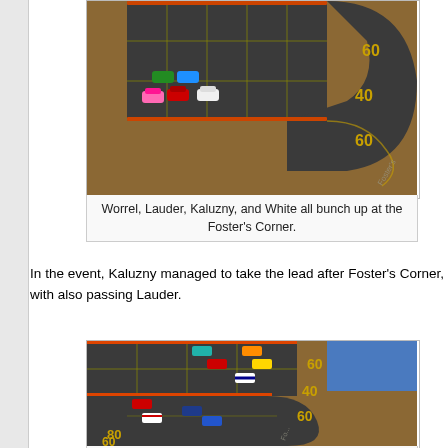[Figure (photo): Top-down view of a Formula 1 board game with miniature racing cars bunched up at Foster's Corner — a curved section of the track mat. Multiple colored cars (pink, red, green, blue, etc.) are clustered together on the dark track.]
Worrel, Lauder, Kaluzny, and White all bunch up at the Foster's Corner.
In the event, Kaluzny managed to take the lead after Foster's Corner, with also passing Lauder.
[Figure (photo): Top-down view of the Formula 1 board game showing Kaluzny and Worrel having passed Lauder after Foster's Corner. Multiple cars (red, white, blue, yellow, orange, green) are positioned on the S-curved track section with grid squares and speed numbers (80, 60, 40, 60) visible.]
Kaluzny and Worrel have passed Lauder after Foster's Corner; White and Moellering have joined the leading group.